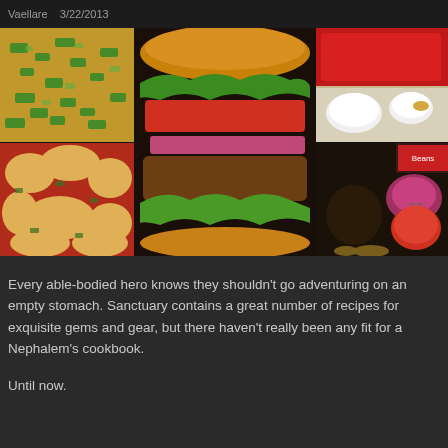Vaellare   3/22/2013
[Figure (photo): Collage of food photos: chopped green peppers on cutting board, large burger with lettuce/tomato/onion, raw red meat with white condiment bowls, cheesy baked dish, and ingredients including avocado, tomato, onion, black beans]
Every able-bodied hero knows they shouldn't go adventuring on an empty stomach. Sanctuary contains a great number of recipes for exquisite gems and gear, but there haven't really been any fit for a Nephalem's cookbook.
Until now.